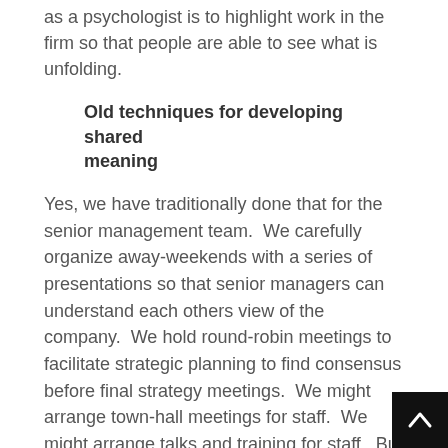as a psychologist is to highlight work in the firm so that people are able to see what is unfolding.
Old techniques for developing shared meaning
Yes, we have traditionally done that for the senior management team.  We carefully organize away-weekends with a series of presentations so that senior managers can understand each others view of the company.  We hold round-robin meetings to facilitate strategic planning to find consensus before final strategy meetings.  We might arrange town-hall meetings for staff.  We might arrange talks and training for staff.  But it is all rather piece-meal – rather Soviet?
Common dashboards